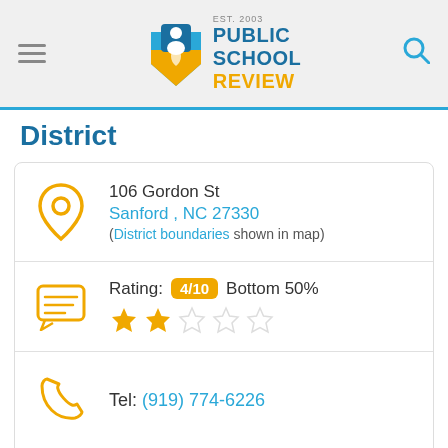Public School Review EST. 2003
District
106 Gordon St
Sanford , NC 27330
(District boundaries shown in map)
Rating: 4/10 Bottom 50% ★★☆☆☆
Tel: (919) 774-6226